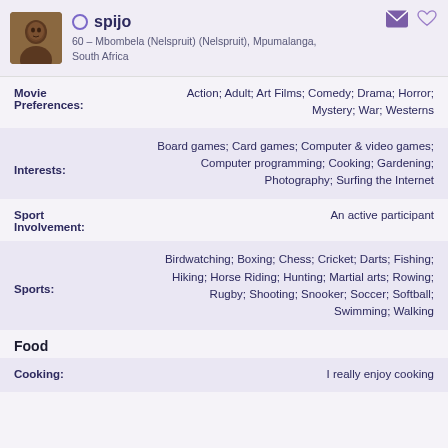[Figure (photo): Avatar photo of user spijo, a person, small square portrait]
spijo
60 – Mbombela (Nelspruit) (Nelspruit), Mpumalanga, South Africa
Movie Preferences: Action; Adult; Art Films; Comedy; Drama; Horror; Mystery; War; Westerns
Interests: Board games; Card games; Computer & video games; Computer programming; Cooking; Gardening; Photography; Surfing the Internet
Sport Involvement: An active participant
Sports: Birdwatching; Boxing; Chess; Cricket; Darts; Fishing; Hiking; Horse Riding; Hunting; Martial arts; Rowing; Rugby; Shooting; Snooker; Soccer; Softball; Swimming; Walking
Food
Cooking: I really enjoy cooking